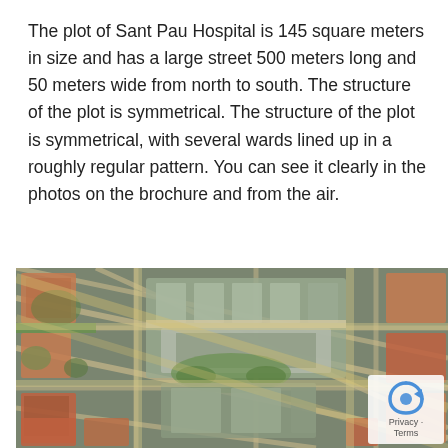The plot of Sant Pau Hospital is 145 square meters in size and has a large street 500 meters long and 50 meters wide from north to south. The structure of the plot is symmetrical. The structure of the plot is symmetrical, with several wards lined up in a roughly regular pattern. You can see it clearly in the photos on the brochure and from the air.
[Figure (photo): Aerial satellite view of Sant Pau Hospital and surrounding city blocks in Barcelona, showing the hospital complex at center with symmetrical ward layout, surrounded by the characteristic octagonal block grid of the Eixample district.]